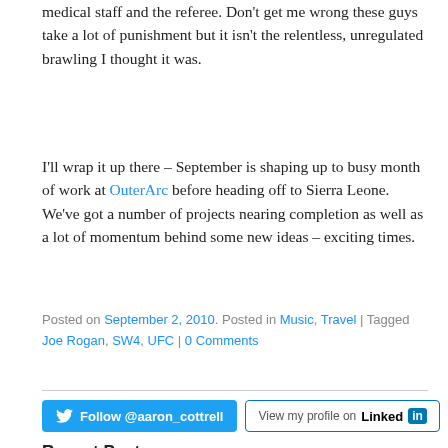medical staff and the referee. Don't get me wrong these guys take a lot of punishment but it isn't the relentless, unregulated brawling I thought it was.
I'll wrap it up there – September is shaping up to busy month of work at OuterArc before heading off to Sierra Leone. We've got a number of projects nearing completion as well as a lot of momentum behind some new ideas – exciting times.
Posted on September 2, 2010. Posted in Music, Travel | Tagged Joe Rogan, SW4, UFC | 0 Comments
[Figure (other): Twitter Follow @aaron_cottrell button and LinkedIn View my profile button]
Recent Posts